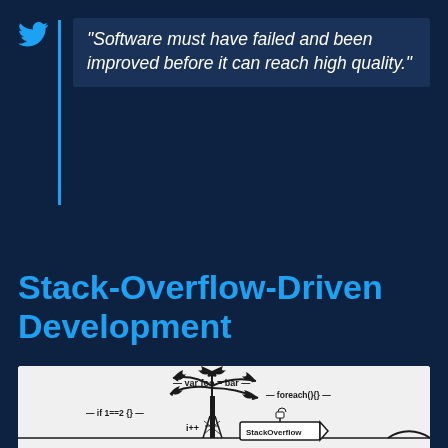"Software must have failed and been improved before it can reach high quality."
Stack-Overflow-Driven Development
[Figure (illustration): A cartoon illustration on a light background showing a palm tree with code snippets around it (var foo = bar, foreach(){}, if 1==2 {}, i++) and a StackOverflow signpost, with a rising sun in the background, representing Stack-Overflow-Driven Development.]